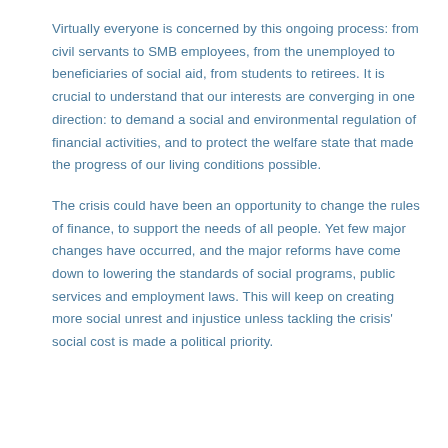Virtually everyone is concerned by this ongoing process: from civil servants to SMB employees, from the unemployed to beneficiaries of social aid, from students to retirees. It is crucial to understand that our interests are converging in one direction: to demand a social and environmental regulation of financial activities, and to protect the welfare state that made the progress of our living conditions possible.
The crisis could have been an opportunity to change the rules of finance, to support the needs of all people. Yet few major changes have occurred, and the major reforms have come down to lowering the standards of social programs, public services and employment laws. This will keep on creating more social unrest and injustice unless tackling the crisis' social cost is made a political priority.